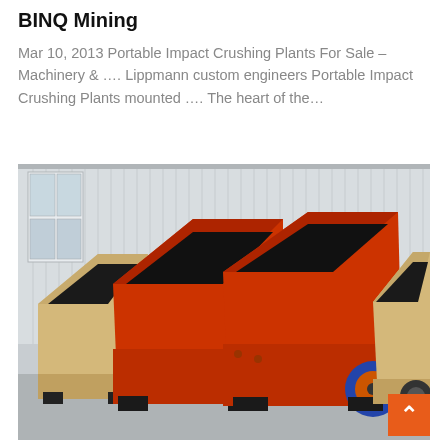BINQ Mining
Mar 10, 2013 Portable Impact Crushing Plants For Sale – Machinery & .... Lippmann custom engineers Portable Impact Crushing Plants mounted .... The heart of the...
[Figure (photo): Photograph of several red and beige/tan portable impact crushing plant machines parked outdoors in front of a large corrugated metal industrial warehouse building. Two large red impact crushers are prominently displayed in the center-front, with beige/tan crushing machinery visible on the left and right sides. A blue and orange flywheel is visible on one machine. An orange back-to-top button with a caret/arrow is visible in the lower right corner of the image.]